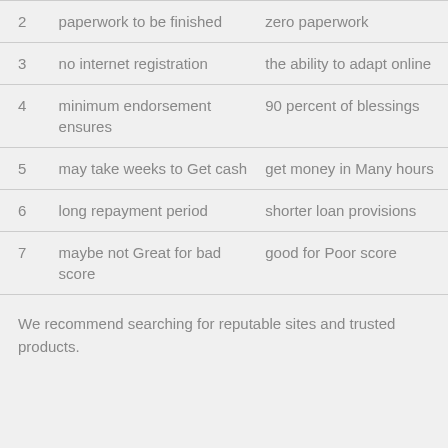| # | Drawback | Benefit |
| --- | --- | --- |
| 2 | paperwork to be finished | zero paperwork |
| 3 | no internet registration | the ability to adapt online |
| 4 | minimum endorsement ensures | 90 percent of blessings |
| 5 | may take weeks to Get cash | get money in Many hours |
| 6 | long repayment period | shorter loan provisions |
| 7 | maybe not Great for bad score | good for Poor score |
We recommend searching for reputable sites and trusted products.